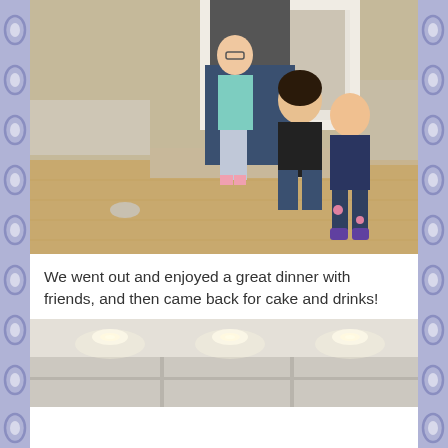[Figure (photo): Family photo showing a man (partially visible, wearing grey sweater and jeans), a woman with dark hair (smiling, wearing black top and jeans, kneeling), and two young girls — one with glasses wearing a teal top and grey leggings with pink socks, and one wearing a dark purple/navy jacket with floral pants and purple shoes — posing together in front of a white fireplace on hardwood floors. A dog toy is visible on the floor to the left.]
We went out and enjoyed a great dinner with friends, and then came back for cake and drinks!
[Figure (photo): Interior room photo showing a ceiling with recessed lighting and white cabinet doors or panels visible. The room appears to be a kitchen or living area with neutral-colored walls.]